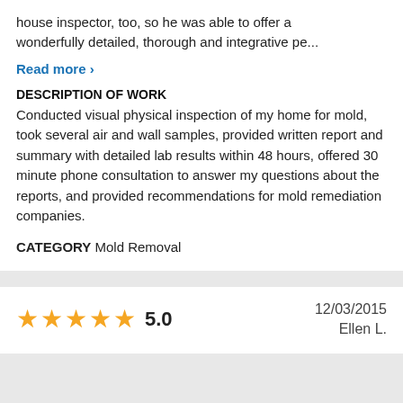house inspector, too, so he was able to offer a wonderfully detailed, thorough and integrative pe…
Read more ›
DESCRIPTION OF WORK
Conducted visual physical inspection of my home for mold, took several air and wall samples, provided written report and summary with detailed lab results within 48 hours, offered 30 minute phone consultation to answer my questions about the reports, and provided recommendations for mold remediation companies.
CATEGORY Mold Removal
[Figure (other): Five gold star rating icons with score 5.0]
5.0
12/03/2015
Ellen L.